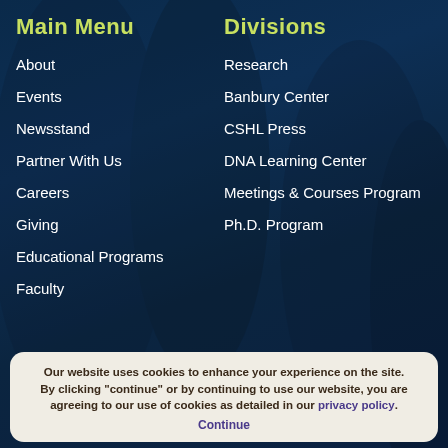Main Menu
Divisions
About
Events
Newsstand
Partner With Us
Careers
Giving
Educational Programs
Faculty
Research
Banbury Center
CSHL Press
DNA Learning Center
Meetings & Courses Program
Ph.D. Program
Our website uses cookies to enhance your experience on the site. By clicking "continue" or by continuing to use our website, you are agreeing to our use of cookies as detailed in our privacy policy. Continue